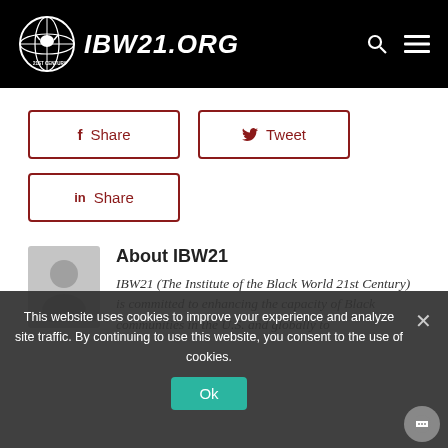IBW21.ORG
f Share
y Tweet
in Share
About IBW21
IBW21 (The Institute of the Black World 21st Century) is committed to enhancing the capacity of Black communities in the U.S. and globally to
This website uses cookies to improve your experience and analyze site traffic. By continuing to use this website, you consent to the use of cookies.